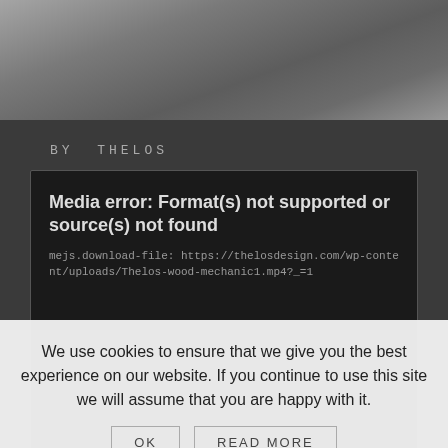[Figure (photo): Grayscale photo background at the top of the page showing blurred objects]
BY THELOS
[Figure (screenshot): Video player error box with black background showing media error message]
Media error: Format(s) not supported or source(s) not found
mejs.download-file: https://thelosdesign.com/wp-content/uploads/Thelos-wood-mechanic1.mp4?_=1
We use cookies to ensure that we give you the best experience on our website. If you continue to use this site we will assume that you are happy with it.
OK
READ MORE